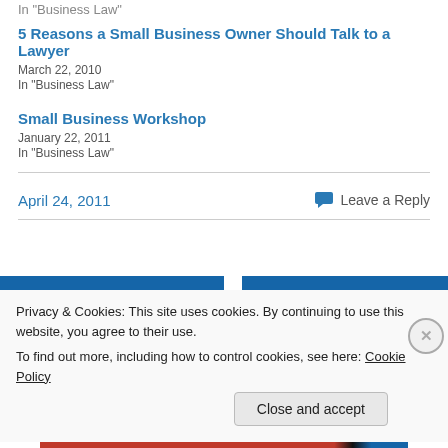In "Business Law"
5 Reasons a Small Business Owner Should Talk to a Lawyer
March 22, 2010
In "Business Law"
Small Business Workshop
January 22, 2011
In "Business Law"
April 24, 2011
Leave a Reply
Privacy & Cookies: This site uses cookies. By continuing to use this website, you agree to their use.
To find out more, including how to control cookies, see here: Cookie Policy
Close and accept